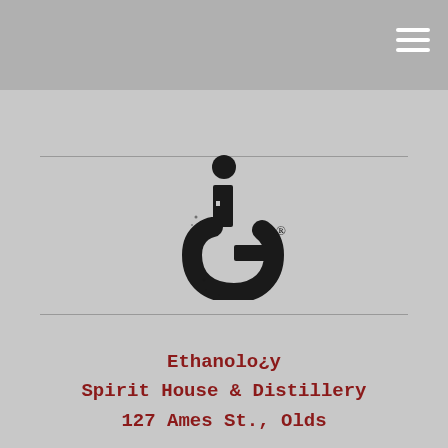[Figure (logo): Ethanology distillery logo — a stylized letter 'ig' or question-mark-like character in black ink splatter style with a registered trademark symbol]
Ethanolo¿y
Spirit House & Distillery
127 Ames St., Olds